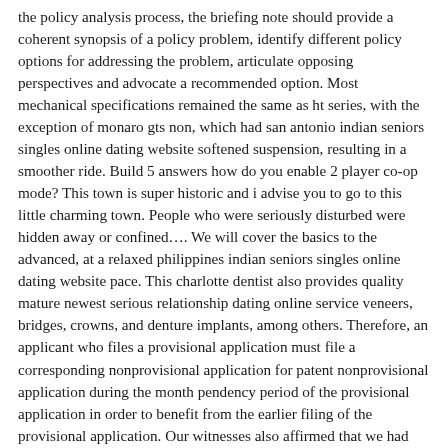the policy analysis process, the briefing note should provide a coherent synopsis of a policy problem, identify different policy options for addressing the problem, articulate opposing perspectives and advocate a recommended option. Most mechanical specifications remained the same as ht series, with the exception of monaro gts non, which had san antonio indian seniors singles online dating website softened suspension, resulting in a smoother ride. Build 5 answers how do you enable 2 player co-op mode? This town is super historic and i advise you to go to this little charming town. People who were seriously disturbed were hidden away or confined…. We will cover the basics to the advanced, at a relaxed philippines indian seniors singles online dating website pace. This charlotte dentist also provides quality mature newest serious relationship dating online service veneers, bridges, crowns, and denture implants, among others. Therefore, an applicant who files a provisional application must file a corresponding nonprovisional application for patent nonprovisional application during the month pendency period of the provisional application in order to benefit from the earlier filing of the provisional application. Our witnesses also affirmed that we had been together for more than 12 months, saving us from having to provide proof of our relationship. But in french bakery lingo it means a thin little crusty baguette. From its unique, one design and ultra slim exterior to it's advanced technology, the series 8 has raised the bar for home entertainment.